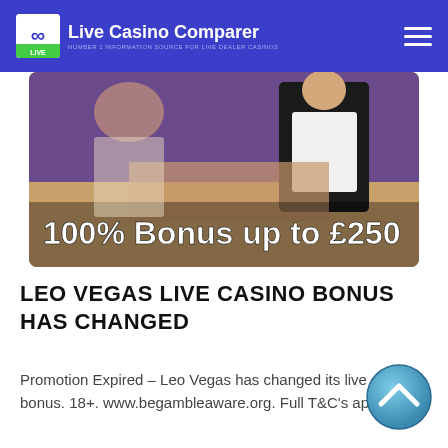Live Casino Comparer — NUMBER 1 INFORMATION SOURCE FOR LIVE DEALER CASINOS
[Figure (photo): Live casino dealer table with text overlay: 100% Bonus up to £250]
LEO VEGAS LIVE CASINO BONUS HAS CHANGED
Promotion Expired – Leo Vegas has changed its live casino bonus. 18+. www.begambleaware.org. Full T&C's apply.